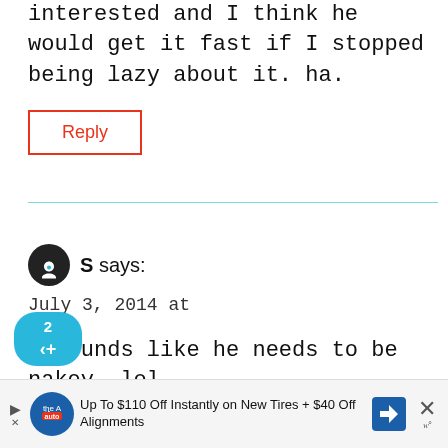interested and I think he would get it fast if I stopped being lazy about it. ha.
Reply
S says:
July 3, 2014 at
sounds like he needs to be nakey. lol.
[Figure (infographic): Share widget with count 2 and share icon, blue pill shape]
WHAT'S NEXT → Stripping Cloth Diaper...
Reply
[Figure (infographic): Advertisement banner: Up To $110 Off Instantly on New Tires + $40 Off Alignments with tire auto logo and blue arrow sign]